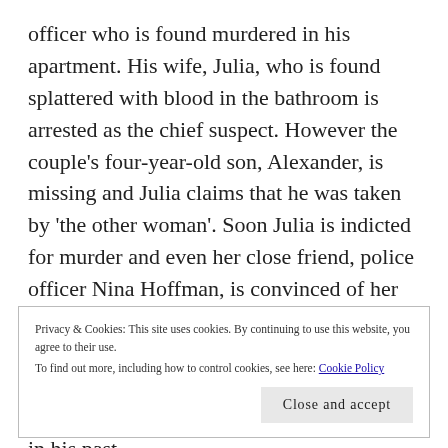officer who is found murdered in his apartment. His wife, Julia, who is found splattered with blood in the bathroom is arrested as the chief suspect. However the couple's four-year-old son, Alexander, is missing and Julia claims that he was taken by 'the other woman'. Soon Julia is indicted for murder and even her close friend, police officer Nina Hoffman, is convinced of her guilt. However, Annika, soon scents something amiss about the case. Despite his fame, David Lindholm had a nasty streak to his character and there are some anomalies in his past.
Privacy & Cookies: This site uses cookies. By continuing to use this website, you agree to their use.
To find out more, including how to control cookies, see here: Cookie Policy
Close and accept